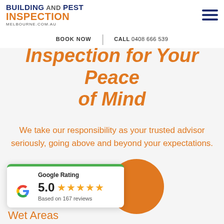BUILDING AND PEST INSPECTION MELBOURNE.COM.AU
Purpose Inspection for Your Peace of Mind
We take our responsibility as your trusted advisor seriously, going above and beyond your expectations.
[Figure (logo): Google Rating 5.0 stars, Based on 167 reviews]
Wet Areas